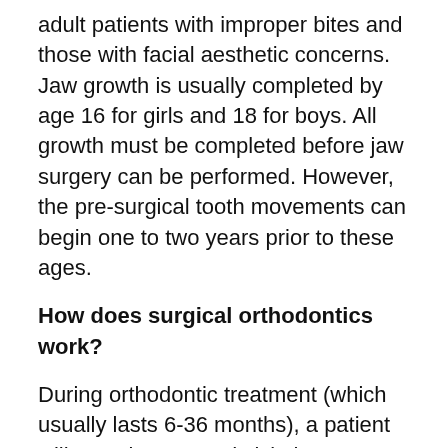adult patients with improper bites and those with facial aesthetic concerns. Jaw growth is usually completed by age 16 for girls and 18 for boys. All growth must be completed before jaw surgery can be performed. However, the pre-surgical tooth movements can begin one to two years prior to these ages.
How does surgical orthodontics work?
During orthodontic treatment (which usually lasts 6-36 months), a patient will wear braces and visit the